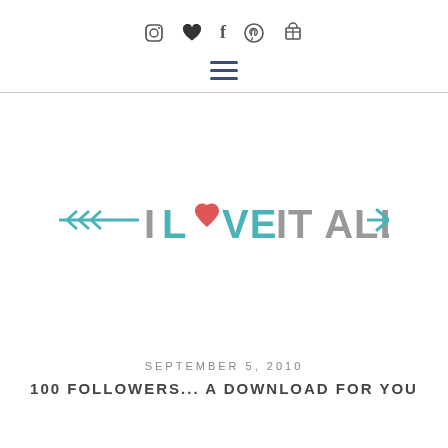Social media icons: Instagram, Heart, Facebook, Pinterest, Shopping cart
[Figure (other): Hamburger menu icon (three horizontal lines)]
[Figure (logo): I LOVE IT ALL logo with arrow design: teal left arrow, gray 'I', teal 'L', red heart replacing 'O', teal 'VE', gray 'IT ALL', teal right arrow]
SEPTEMBER 5, 2010
100 FOLLOWERS... A DOWNLOAD FOR YOU